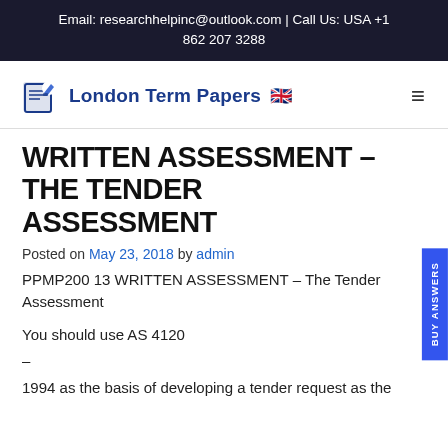Email: researchhelpinc@outlook.com | Call Us: USA +1 862 207 3288
[Figure (logo): London Term Papers logo with notebook and pen icon and UK flag emoji]
WRITTEN ASSESSMENT – THE TENDER ASSESSMENT
Posted on May 23, 2018 by admin
PPMP200 13 WRITTEN ASSESSMENT – The Tender Assessment
You should use AS 4120
–
1994 as the basis of developing a tender request as the